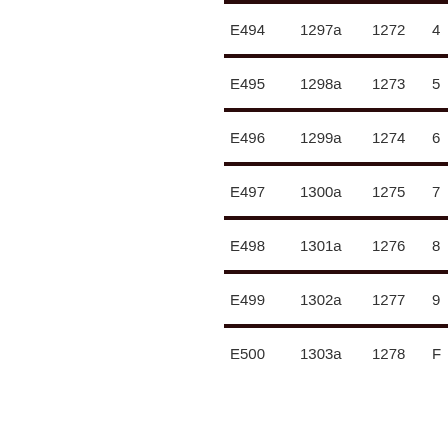| Col1 | Col2 | Col3 | Col4 |
| --- | --- | --- | --- |
| E494 | 1297a | 1272 | 4 |
| E495 | 1298a | 1273 | 5 |
| E496 | 1299a | 1274 | 6 |
| E497 | 1300a | 1275 | 7 |
| E498 | 1301a | 1276 | 8 |
| E499 | 1302a | 1277 | 9 |
| E500 | 1303a | 1278 | F |